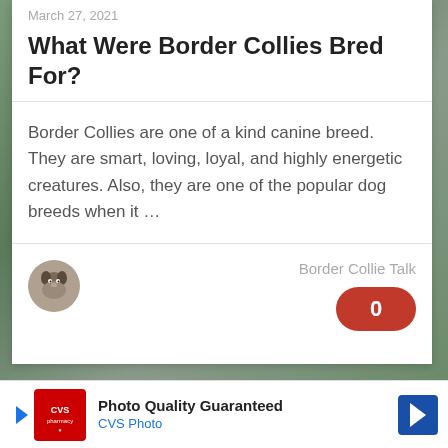March 27, 2021
What Were Border Collies Bred For?
Border Collies are one of a kind canine breed. They are smart, loving, loyal, and highly energetic creatures. Also, they are one of the popular dog breeds when it …
Border Collie Talk
[Figure (other): Red rounded badge with white number 0]
[Figure (other): CVS Pharmacy advertisement banner with Photo Quality Guaranteed text and CVS Photo subtitle]